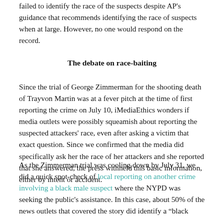failed to identify the race of the suspects despite AP's guidance that recommends identifying the race of suspects when at large. However, no one would respond on the record.
The debate on race-baiting
Since the trial of George Zimmerman for the shooting death of Trayvon Martin was at a fever pitch at the time of first reporting the crime on July 10, iMediaEthics wonders if media outlets were possibly squeamish about reporting the suspected attackers' race, even after asking a victim that exact question. Since we confirmed that the media did specifically ask her the race of her attackers and she reported that she answered, the press withheld this basic information, either by intent or accident.
As the Zimmerman trial was cooling down by July 31, we did a quick spot-check of local reporting on another crime involving a black male suspect where the NYPD was seeking the public's assistance. In this case, about 50% of the news outlets that covered the story did identify a "black male" and called out the suspect's race, apparently the